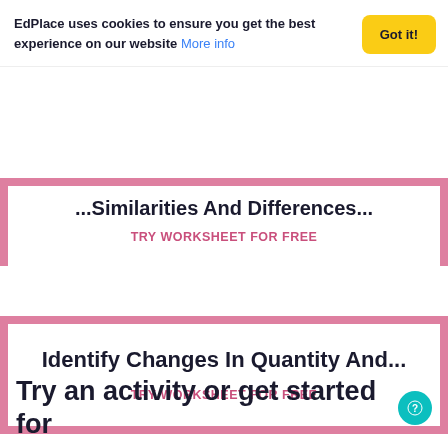EdPlace uses cookies to ensure you get the best experience on our website More info
TRY WORKSHEET FOR FREE
Identify Changes In Quantity And...
TRY WORKSHEET FOR FREE
Try an activity or get started for